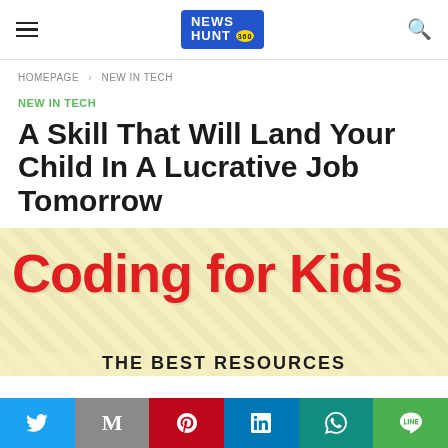NEWS HUNT 360 — site header with hamburger menu and search icon
HOMEPAGE > NEW IN TECH
NEW IN TECH
A Skill That Will Land Your Child In A Lucrative Job Tomorrow
[Figure (photo): Coding for Kids promotional image with bold red text 'Coding for Kids' on a yellow speckled background and black text 'THE BEST RESOURCES' at bottom]
Social sharing bar: Twitter, Gmail, Pinterest, LinkedIn, WhatsApp, Line